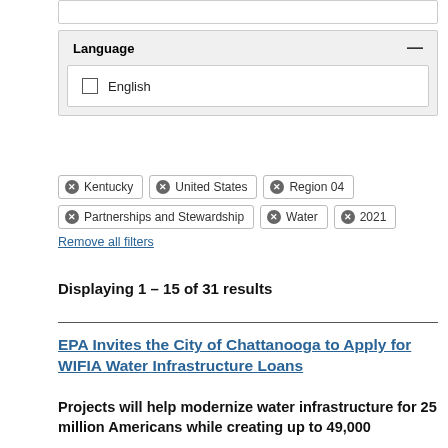Language
English
Kentucky
United States
Region 04
Partnerships and Stewardship
Water
2021
Remove all filters
Displaying 1 – 15 of 31 results
EPA Invites the City of Chattanooga to Apply for WIFIA Water Infrastructure Loans
Projects will help modernize water infrastructure for 25 million Americans while creating up to 49,000